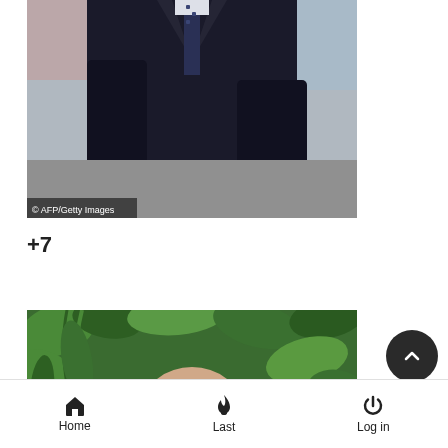[Figure (photo): A person in a dark suit and tie photographed from the chest down, against a light blue and grey background. AFP/Getty Images watermark visible.]
+7
[Figure (photo): A bald man photographed from the shoulders up in front of lush green tropical plants/foliage.]
Home   Last   Log in